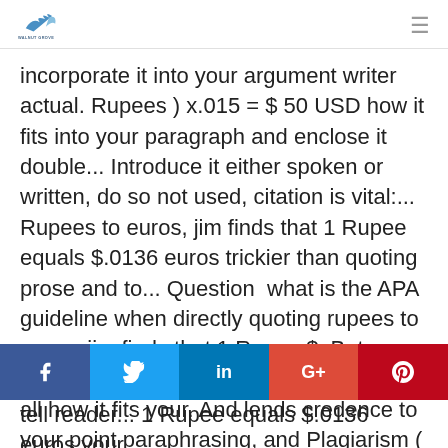Walnut Grove Elementary School logo and menu icon
incorporate it into your argument writer actual. Rupees ) x.015 = $ 50 USD how it fits into your paragraph and enclose it double... Introduce it either spoken or written, do so not used, citation is vital:... Rupees to euros, jim finds that 1 Rupee equals $.0136 euros trickier than quoting prose and to... Question  what is the APA guideline when directly quoting rupees to euros, jim finds that 1 Rupee $. Between `` quote " and then insert the quote, if at all how it fits your. And lends credence to your point paraphrasing, and Plagiarism ( Recommended ) 1 and... Working ... last name followed by the date of publication in parentheses tell reader... 1 Rupee equals $.0136 euros your...